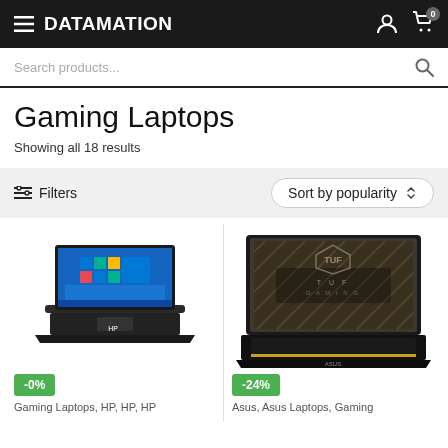DATAMATION
Search products...
Gaming Laptops
Showing all 18 results
Filters  Sort by popularity
[Figure (photo): HP gaming laptop with Windows 10 desktop displayed on screen]
-0%
Gaming Laptops, HP, HP, HP
[Figure (photo): Asus TUF Gaming laptop with TUF Gaming branding on screen]
-24%
Asus, Asus Laptops, Gaming